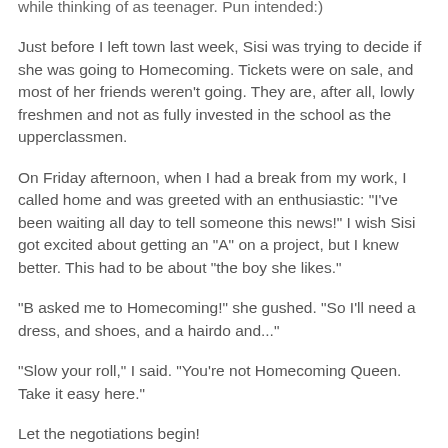while thinking of as teenager. Pun intended:)
Just before I left town last week, Sisi was trying to decide if she was going to Homecoming. Tickets were on sale, and most of her friends weren't going. They are, after all, lowly freshmen and not as fully invested in the school as the upperclassmen.
On Friday afternoon, when I had a break from my work, I called home and was greeted with an enthusiastic: "I've been waiting all day to tell someone this news!" I wish Sisi got excited about getting an "A" on a project, but I knew better. This had to be about "the boy she likes."
"B asked me to Homecoming!" she gushed. "So I'll need a dress, and shoes, and a hairdo and..."
"Slow your roll," I said. "You're not Homecoming Queen. Take it easy here."
Let the negotiations begin!
We decided she'd better go and make sure everyone is from